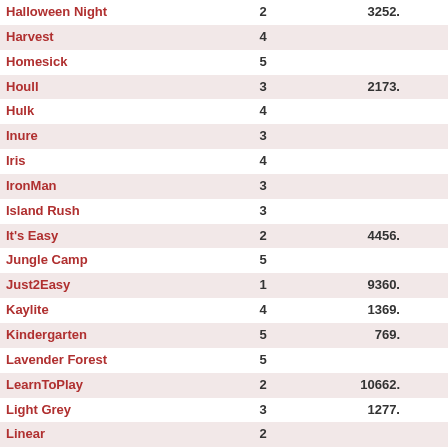| Name | Col2 | Col3 | Col4 |
| --- | --- | --- | --- |
| Halloween Night | 2 | 3252. | 10901. |
| Harvest | 4 |  | 5894. |
| Homesick | 5 |  | 7837. |
| Houll | 3 | 2173. | 9950. |
| Hulk | 4 |  | 10850. |
| Inure | 3 |  | 7959. |
| Iris | 4 |  | 14694. |
| IronMan | 3 |  | 7485. |
| Island Rush | 3 |  | 15277. |
| It's Easy | 2 | 4456. | 29891. |
| Jungle Camp | 5 |  | 3422. |
| Just2Easy | 1 | 9360. | 33665. |
| Kaylite | 4 | 1369. | 10882. |
| Kindergarten | 5 | 769. | 2978. |
| Lavender Forest | 5 |  | 8330. |
| LearnToPlay | 2 | 10662. | 22731. |
| Light Grey | 3 | 1277. | 7760. |
| Linear | 2 |  | 10359. |
| Lonely | 3 |  | 20003. |
| Looney | 4 |  | 13672. |
| Lowcore | 2 |  | 9265. |
| MagiK | 5 |  | 7153. |
| Maui Wowie | 4 |  | 20109. |
| Maui Wowie 2 | 4 |  | 13854. |
| Moonlight | 3 | 2578. | 10071. |
| Multeasymap | 5 |  | 42340. |
| newbee | 2 |  | 12183. |
| Orion | 5 | 2210. | 12631. |